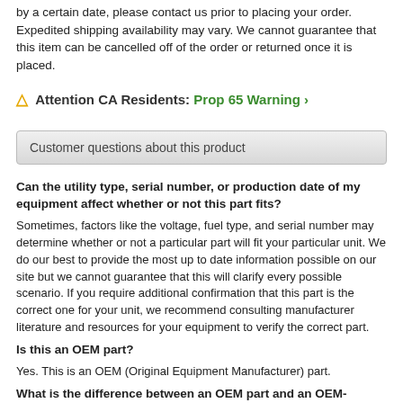by a certain date, please contact us prior to placing your order. Expedited shipping availability may vary. We cannot guarantee that this item can be cancelled off of the order or returned once it is placed.
⚠ Attention CA Residents: Prop 65 Warning ›
Customer questions about this product
Can the utility type, serial number, or production date of my equipment affect whether or not this part fits?
Sometimes, factors like the voltage, fuel type, and serial number may determine whether or not a particular part will fit your particular unit. We do our best to provide the most up to date information possible on our site but we cannot guarantee that this will clarify every possible scenario. If you require additional confirmation that this part is the correct one for your unit, we recommend consulting manufacturer literature and resources for your equipment to verify the correct part.
Is this an OEM part?
Yes. This is an OEM (Original Equipment Manufacturer) part.
What is the difference between an OEM part and an OEM-